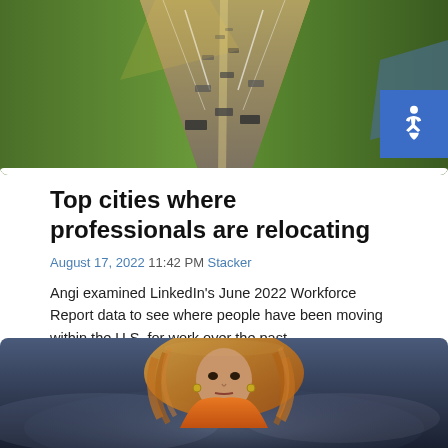[Figure (photo): Aerial view of a highway with multiple lanes of traffic, green fields on both sides, shot from above at golden hour.]
Top cities where professionals are relocating
August 17, 2022 11:42 PM Stacker
Angi examined LinkedIn’s June 2022 Workforce Report data to see where people have been moving within the U.S. for work over the past…
Continue Reading
[Figure (photo): A performer (appearing to be Beyoncé) in an orange outfit with long blonde curly hair, performing on stage with dramatic lighting and smoke.]